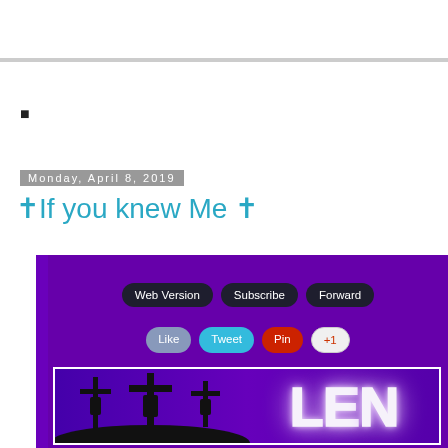▪
Monday, April 8, 2019
✝If you knew Me ✝
[Figure (screenshot): Email newsletter block with purple background. Buttons: Web Version, Subscribe, Forward. Social buttons: Like, Tweet, Pin, +1. Below is a Lent image showing three crosses silhouette against purple sky and glowing 'LEN' text.]